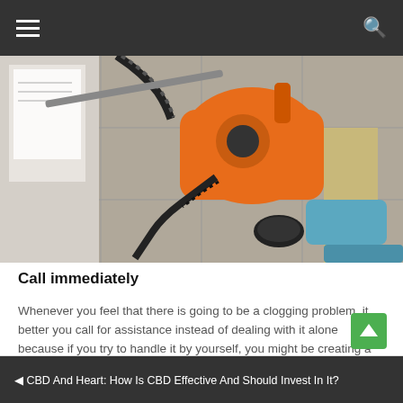[Figure (photo): A plumber working on a drain with an orange drain snake machine on a tiled floor, with black spiral cable going into an open drain.]
Call immediately
Whenever you feel that there is going to be a clogging problem, it better you call for assistance instead of dealing with it alone because if you try to handle it by yourself, you might be creating a much serious situation. So calling αποφραξεις πειραιας immediately can help you deal with the situation without making it worse.
◄ CBD And Heart: How Is CBD Effective And Should Invest In It?